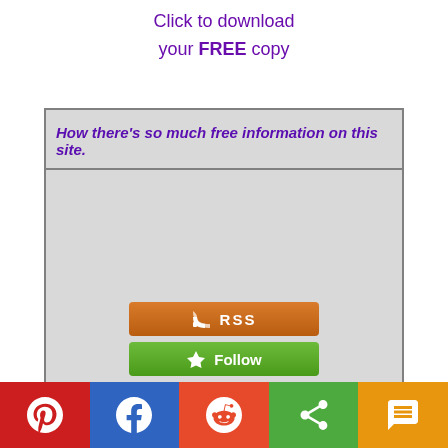Click to download your FREE copy
[Figure (screenshot): Website content box with italic purple text 'How there's so much free information on this site.' followed by a gray content area, 'Recent Articles' heading, RSS and Follow buttons]
Recent Articles
[Figure (infographic): Orange RSS button with RSS icon]
[Figure (infographic): Green Follow button with home/follow icon]
[Figure (infographic): Social sharing bar with Pinterest, Facebook, Reddit, Share, and SMS buttons]